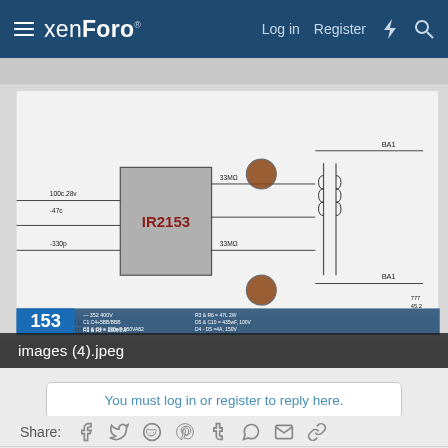xenForo — Log in  Register
[Figure (circuit-diagram): Switching power supply circuit diagram featuring IR2153 IC, with component labels including capacitors, resistors, diodes, and a transformer. Image filename shown as 'images (4).jpeg'. Component number 153 visible in bottom-left.]
You must log in or register to reply here.
Share:
Switching Power Supplies Informations
Contact us  Terms and rules  Privacy policy  Help  Home  [RSS] Paid Registrations by AddonFlare - Premium XF2 Addons